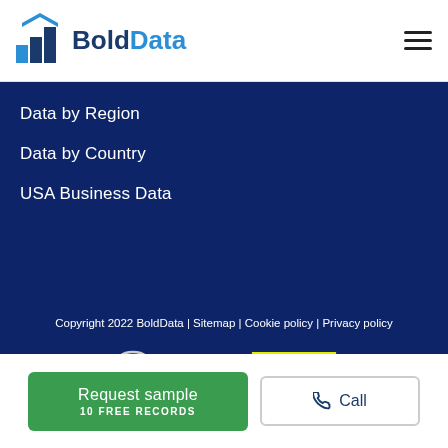BoldData
Data by Region
Data by Country
USA Business Data
Copyright 2022 BoldData | Sitemap | Cookie policy | Privacy policy
[Figure (logo): Privacy Waarborg logo with padlock icon and EU stars]
[Figure (logo): DDMA logo in yellow on dark background]
Request sample 10 FREE RECORDS
Call